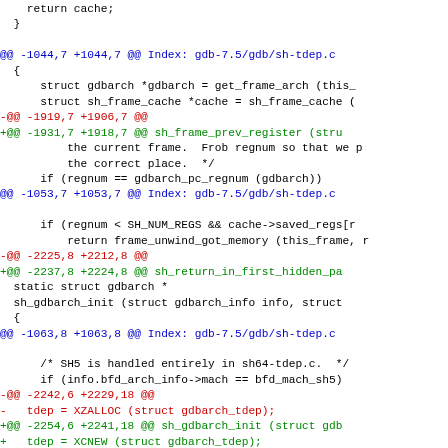Diff/patch code view for gdb-7.5/gdb/sh-tdep.c showing unified diff hunks with context lines, removals in red, additions in green, and hunk headers in blue.